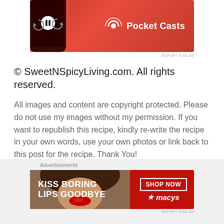[Figure (other): Pocket Casts app advertisement showing a red smartphone with media player controls on a red background, with Pocket Casts logo and text]
REPORT THIS AD
© SweetNSpicyLiving.com. All rights reserved.
All images and content are copyright protected. Please do not use my images without my permission. If you want to republish this recipe, kindly re-write the recipe in your own words, use your own photos or link back to this post for the recipe. Thank You!
Advertisements
[Figure (other): Macy's advertisement showing a woman's face with red lips, text KISS BORING LIPS GOODBYE, SHOP NOW button, and Macy's logo on red background]
REPORT THIS AD